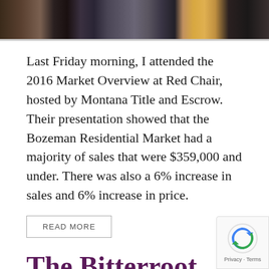[Figure (photo): Cropped photo strip at top showing people in dark and patterned clothing with warm lighting]
Last Friday morning, I attended the 2016 Market Overview at Red Chair, hosted by Montana Title and Escrow. Their presentation showed that the Bozeman Residential Market had a majority of sales that were $359,000 and under. There was also a 6% increase in sales and 6% increase in price.
READ MORE
The Bitterroot Stockgrowers